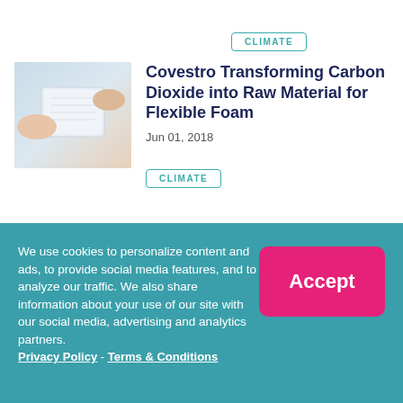CLIMATE
[Figure (photo): Hands holding a block of white flexible foam material]
Covestro Transforming Carbon Dioxide into Raw Material for Flexible Foam
Jun 01, 2018
CLIMATE
We use cookies to personalize content and ads, to provide social media features, and to analyze our traffic. We also share information about your use of our site with our social media, advertising and analytics partners.
Privacy Policy - Terms & Conditions